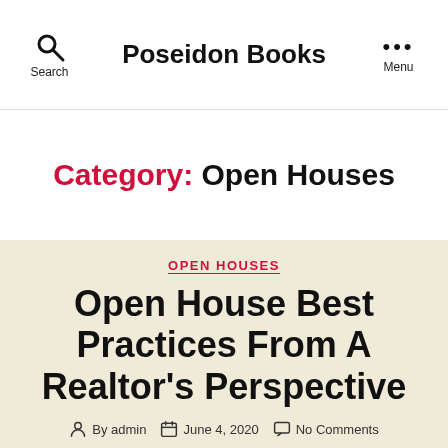Poseidon Books
Category: Open Houses
OPEN HOUSES
Open House Best Practices From A Realtor's Perspective
By admin  June 4, 2020  No Comments